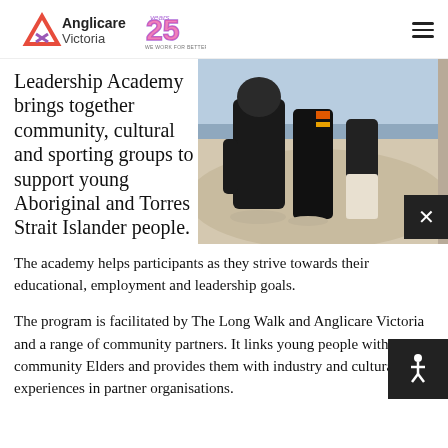Anglicare Victoria | 25 Years — We Work For Better
Leadership Academy brings together community, cultural and sporting groups to support young Aboriginal and Torres Strait Islander people. The academy helps participants as they strive towards their educational, employment and leadership goals.
[Figure (photo): Three people standing on a sandy beach, viewed from roughly waist down, wearing dark clothing.]
The program is facilitated by The Long Walk and Anglicare Victoria and a range of community partners. It links young people with community Elders and provides them with industry and cultural experiences in partner organisations.